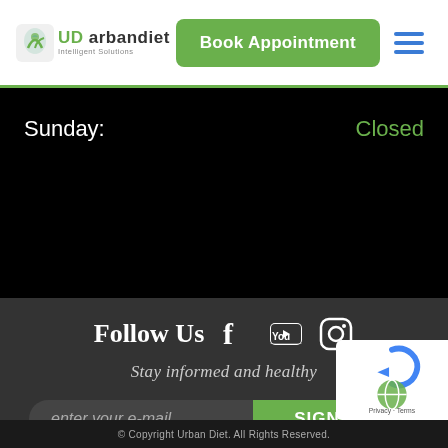[Figure (logo): Urban Diet logo with green leaf icon and brand name]
Book Appointment
Sunday:
Closed
Follow Us
Stay informed and healthy
enter your e-mail
SIGN UP!
© Copyright Urban Diet. All Rights Reserved.